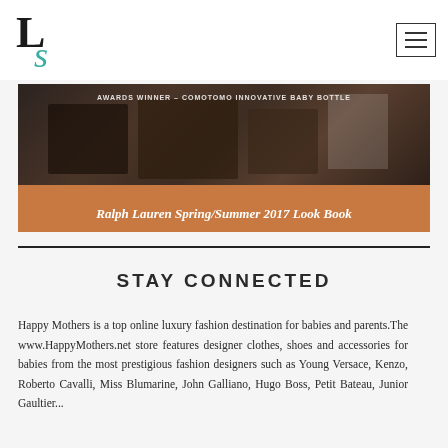LS logo and navigation menu
[Figure (photo): Image showing Ralph Lauren Spring/Summer 2017 Look Book with text overlay 'AWARDS WINNER – COMOTOMO INNOVATIVE BABY BOTTLE' at top and 'Ralph Lauren Spring/Summer 2017 Look Book' on an orange/brown bar at the bottom]
STAY CONNECTED
Happy Mothers is a top online luxury fashion destination for babies and parents.The www.HappyMothers.net store features designer clothes, shoes and accessories for babies from the most prestigious fashion designers such as Young Versace, Kenzo, Roberto Cavalli, Miss Blumarine, John Galliano, Hugo Boss, Petit Bateau, Junior Gaultier...